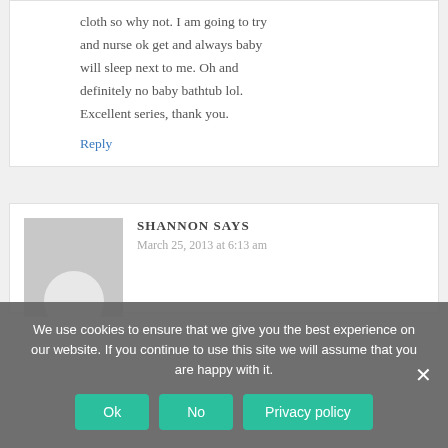cloth so why not. I am going to try and nurse ok get and always baby will sleep next to me. Oh and definitely no baby bathtub lol. Excellent series, thank you.
Reply
SHANNON SAYS
March 25, 2013 at 6:13 am
We use cookies to ensure that we give you the best experience on our website. If you continue to use this site we will assume that you are happy with it.